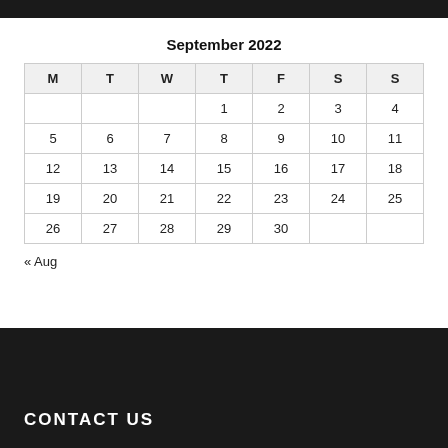September 2022
| M | T | W | T | F | S | S |
| --- | --- | --- | --- | --- | --- | --- |
|  |  |  | 1 | 2 | 3 | 4 |
| 5 | 6 | 7 | 8 | 9 | 10 | 11 |
| 12 | 13 | 14 | 15 | 16 | 17 | 18 |
| 19 | 20 | 21 | 22 | 23 | 24 | 25 |
| 26 | 27 | 28 | 29 | 30 |  |  |
« Aug
CONTACT US